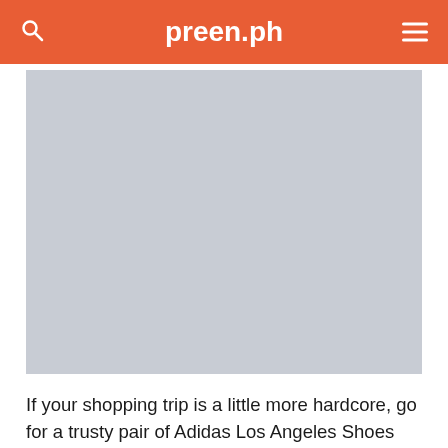preen.ph
[Figure (photo): Large placeholder image area with light gray background, likely showing a product or lifestyle photo related to Adidas shoes]
If your shopping trip is a little more hardcore, go for a trusty pair of Adidas Los Angeles Shoes (P4,395). This